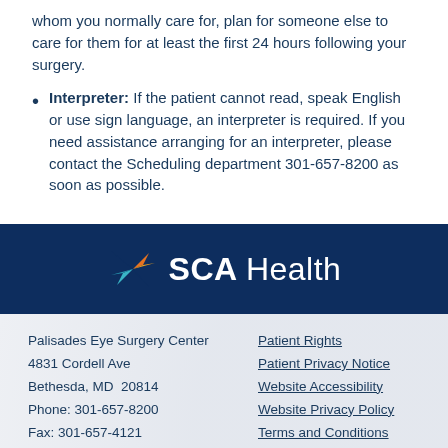whom you normally care for, plan for someone else to care for them for at least the first 24 hours following your surgery.
Interpreter: If the patient cannot read, speak English or use sign language, an interpreter is required. If you need assistance arranging for an interpreter, please contact the Scheduling department 301-657-8200 as soon as possible.
[Figure (logo): SCA Health logo on dark navy background with asterisk/star mark in orange, teal, and blue]
Palisades Eye Surgery Center
4831 Cordell Ave
Bethesda, MD  20814
Phone: 301-657-8200
Fax: 301-657-4121
Get Directions
Patient Rights
Patient Privacy Notice
Website Accessibility
Website Privacy Policy
Terms and Conditions
SCA Health